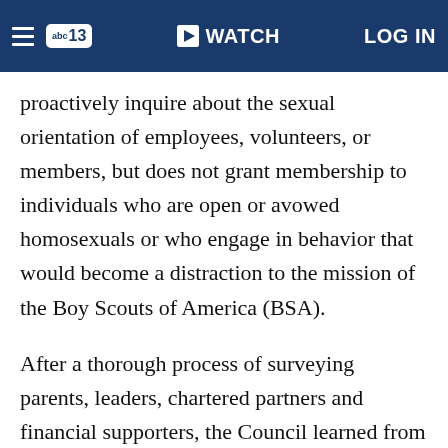abc13 | WATCH | LOG IN
proactively inquire about the sexual orientation of employees, volunteers, or members, but does not grant membership to individuals who are open or avowed homosexuals or who engage in behavior that would become a distraction to the mission of the Boy Scouts of America (BSA).
After a thorough process of surveying parents, leaders, chartered partners and financial supporters, the Council learned from their constituents that they do not want to change the current national policy on membership standards. Respondents to a Council survey of current parents and adult leaders who expressed an opinion on this issue yielded a 75% opposition to changing the current national membership policy. An independent survey of the Council's parents and leaders, conducted by